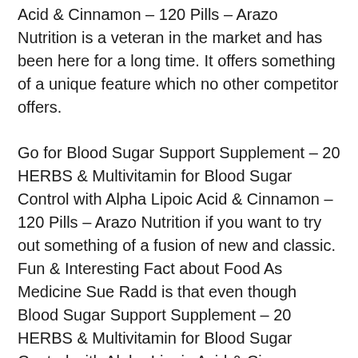Acid & Cinnamon – 120 Pills – Arazo Nutrition is a veteran in the market and has been here for a long time. It offers something of a unique feature which no other competitor offers.
Go for Blood Sugar Support Supplement – 20 HERBS & Multivitamin for Blood Sugar Control with Alpha Lipoic Acid & Cinnamon – 120 Pills – Arazo Nutrition if you want to try out something of a fusion of new and classic. Fun & Interesting Fact about Food As Medicine Sue Radd is that even though Blood Sugar Support Supplement – 20 HERBS & Multivitamin for Blood Sugar Control with Alpha Lipoic Acid & Cinnamon – 120 Pills – Arazo Nutrition is a veteran, the users are mostly younger generation. You can say fashion makes a turn after a century or so and things repeat.